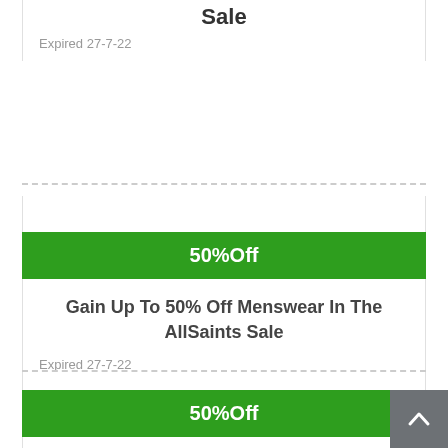Sale
Expired 27-7-22
50%Off
Gain Up To 50% Off Menswear In The AllSaints Sale
Expired 27-7-22
50%Off
Grab Up To 50% Off Mens Shirts In The AllSaints Sale